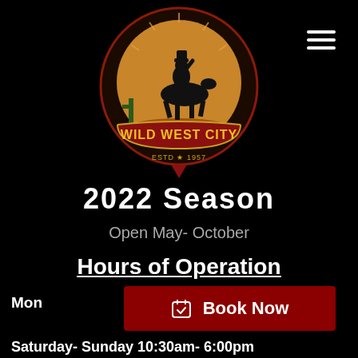[Figure (logo): Wild West City logo with cowboy silhouette on bucking horse, desert scene, red banner with yellow text 'WILD WEST CITY', 'ESTD * 1957']
2022 Season
Open May- October
Hours of Operation
Mon
[Figure (other): Book Now button - dark red rectangle with calendar icon and text 'Book Now']
Saturday- Sunday 10:30am- 6:00pm
Open 7 days a week!